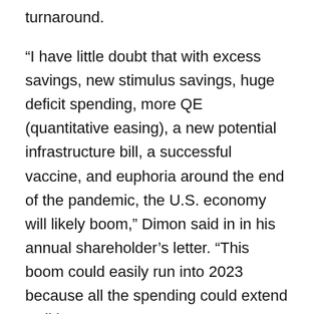turnaround.
“I have little doubt that with excess savings, new stimulus savings, huge deficit spending, more QE (quantitative easing), a new potential infrastructure bill, a successful vaccine, and euphoria around the end of the pandemic, the U.S. economy will likely boom,” Dimon said in in his annual shareholder’s letter. “This boom could easily run into 2023 because all the spending could extend well into 2023.”
Mitch Gould, CEO and Director of Global Operations for Consumer Products International, sees Dimon’s assessment of the economy as another confirmation that the economic rebound is already in the works.